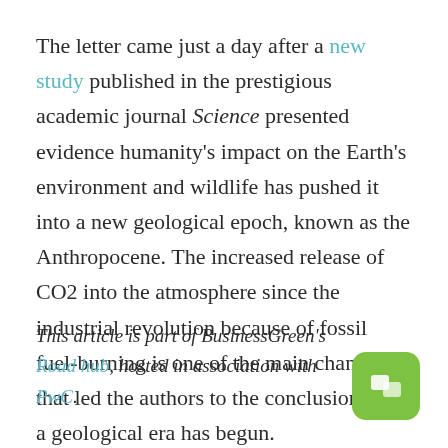The letter came just a day after a new study published in the prestigious academic journal Science presented evidence humanity's impact on the Earth's environment and wildlife has pushed it into a new geological epoch, known as the Anthropocene. The increased release of CO2 into the atmosphere since the industrial revolution because of fossil fuel-burning is one of the main changes that led the authors to the conclusion that a geological era has begun.
This article is part of BusinessGreen's Road hub, hosted in association with PwC.